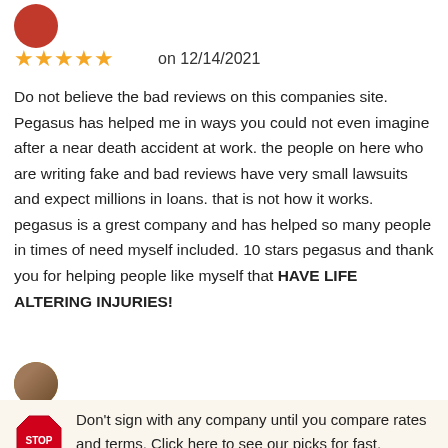[Figure (photo): Red circular avatar icon at top left]
★★★★★  on 12/14/2021
Do not believe the bad reviews on this companies site. Pegasus has helped me in ways you could not even imagine after a near death accident at work. the people on here who are writing fake and bad reviews have very small lawsuits and expect millions in loans. that is not how it works. pegasus is a grest company and has helped so many people in times of need myself included. 10 stars pegasus and thank you for helping people like myself that HAVE LIFE ALTERING INJURIES!
[Figure (photo): Brown/tan circular avatar photo of a person]
Don't sign with any company until you compare rates and terms. Click here to see our picks for fast, affordable funding.